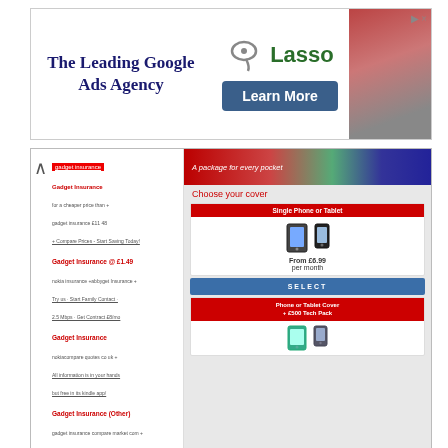[Figure (screenshot): Advertisement banner for Lasso Google Ads Agency with 'Learn More' button]
[Figure (screenshot): Screenshot of a gadget insurance website showing 'Choose your cover' with Single Phone or Tablet option, From £6.99 per month, SELECT button, and Phone or Tablet Cover + £500 Tech Pack option. Left panel shows search results and user comments.]
This site uses cookies to help personalise content, tailor your experience and to keep you logged in if you register.
By continuing to use this site, you are consenting to our use of cookies.
✓ Accept    Learn more…